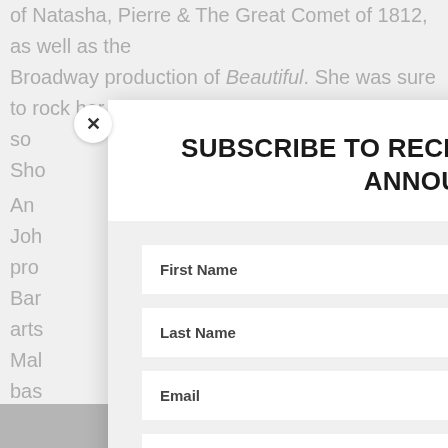of Natasha, Pierre & The Great Comet of 1812, as well as the Broadway production of Beautiful. She was sure to rock her so adway Sho An e and Joh so pro f Bar d the arts Al Mal the bas and actu e min chers in tl
[Figure (screenshot): Modal popup overlay with subscribe form containing First Name, Last Name, Email fields and SUBSCRIBE! button. Close X button in top left. Title reads SUBSCRIBE TO RECEIVE OUR LATEST NEWS & ANNOUNCEMENTS.]
Share This ∨  ×